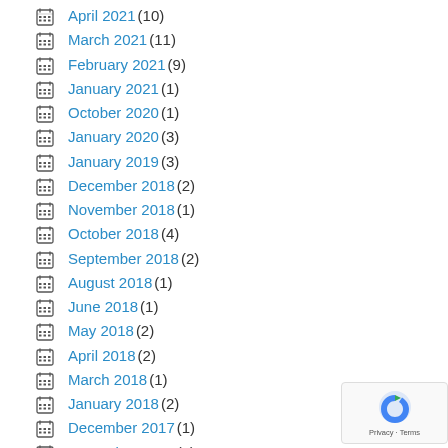April 2021 (10)
March 2021 (11)
February 2021 (9)
January 2021 (1)
October 2020 (1)
January 2020 (3)
January 2019 (3)
December 2018 (2)
November 2018 (1)
October 2018 (4)
September 2018 (2)
August 2018 (1)
June 2018 (1)
May 2018 (2)
April 2018 (2)
March 2018 (1)
January 2018 (2)
December 2017 (1)
November 2017 (1)
June 2017 (4)